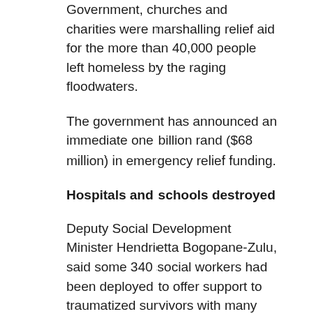Government, churches and charities were marshalling relief aid for the more than 40,000 people left homeless by the raging floodwaters.
The government has announced an immediate one billion rand ($68 million) in emergency relief funding.
Hospitals and schools destroyed
Deputy Social Development Minister Hendrietta Bogopane-Zulu, said some 340 social workers had been deployed to offer support to traumatized survivors with many still missing children and other relatives.
Most casualties were in Durban, a port city and a major economic hub.
Parts of the city have been without water and